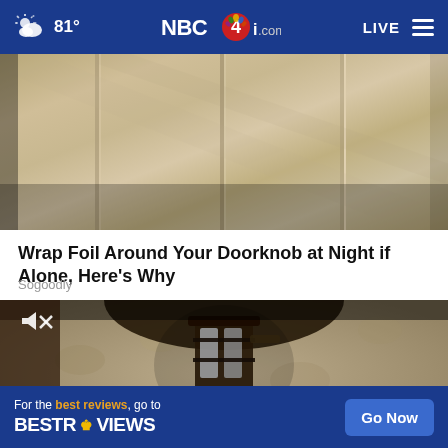81° NBC4i.com LIVE
[Figure (photo): Close-up of a wooden door with vertical panel lines, viewed from a low angle, tan/beige wood grain tones]
Wrap Foil Around Your Doorknob at Night if Alone, Here's Why
Sogoodly
[Figure (screenshot): Video player showing close-up of an outdoor light fixture mounted on a stone/stucco wall. Mute icon visible in upper left. Ad banner overlay at bottom.]
For the best reviews, go to BESTREVIEWS  Go Now